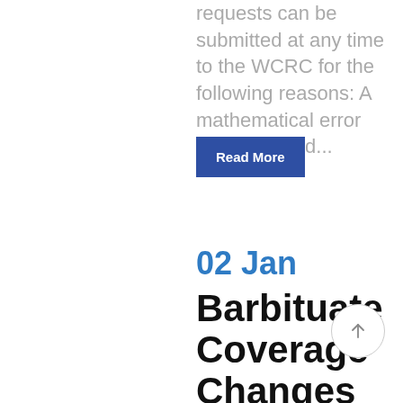requests can be submitted at any time to the WCRC for the following reasons: A mathematical error was identified...
Read More
02 Jan
Barbituate Coverage Changes For